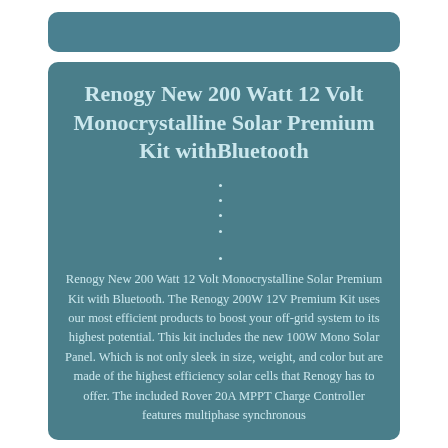Renogy New 200 Watt 12 Volt Monocrystalline Solar Premium Kit withBluetooth
Renogy New 200 Watt 12 Volt Monocrystalline Solar Premium Kit with Bluetooth. The Renogy 200W 12V Premium Kit uses our most efficient products to boost your off-grid system to its highest potential. This kit includes the new 100W Mono Solar Panel. Which is not only sleek in size, weight, and color but are made of the highest efficiency solar cells that Renogy has to offer. The included Rover 20A MPPT Charge Controller features multiphase synchronous